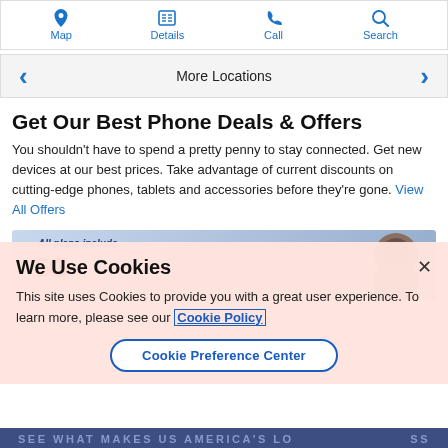Map
Details
Call
Search
More Locations
Get Our Best Phone Deals & Offers
You shouldn't have to spend a pretty penny to stay connected. Get new devices at our best prices. Take advantage of current discounts on cutting-edge phones, tablets and accessories before they're gone. View All Offers
[Figure (photo): Promotional banner showing '5G' logo with text 'All plans include' and a person on the right side]
We Use Cookies
This site uses Cookies to provide you with a great user experience. To learn more, please see our Cookie Policy
Cookie Preference Center